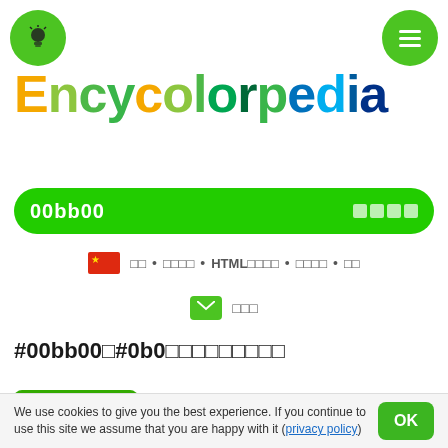[Figure (logo): Encycolorpedia logo with multicolored letters]
00bb00  🔍
🇨🇳 □□ • □□□□ • HTML□□□□ • □□□□ • □□
✉ □□□
#00bb00□#0b0□□□□□□□□□
00BBOO  □□□□□□□□#00bb00□#0b0□□□□□□□□□□□□□ RGB□□□□□□□#00bb00□□□□□□□73.33□□
We use cookies to give you the best experience. If you continue to use this site we assume that you are happy with it (privacy policy)